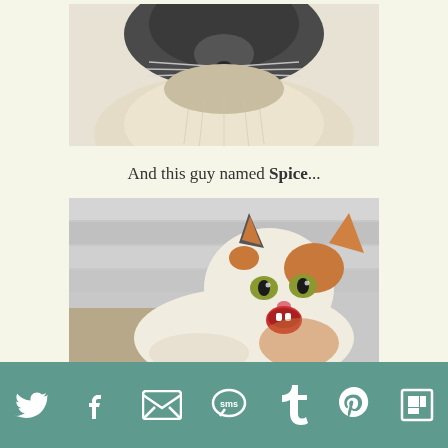[Figure (photo): Close-up photo of a Siamese/dark-faced cat from below, showing dark gray face, whiskers, and fluffy white/cream chest fur]
And this guy named Spice...
[Figure (photo): Photo of a calico/tabby cat with mouth wide open yelling or yawning, white and orange fur, green eyes, against a white slatted background]
Twitter, Facebook, Email, SMS, Tumblr, Pinterest, Flipboard social share icons